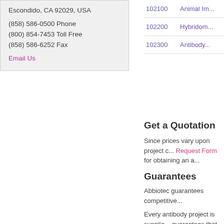Escondido, CA 92029, USA
(858) 586-0500 Phone
(800) 854-7453 Toll Free
(858) 586-6252 Fax
Email Us
| Code | Name |
| --- | --- |
| 102100 | Animal Im... |
| 102200 | Hybridom... |
| 102300 | Antibody... |
Get a Quotation
Since prices vary upon project c... Request Form for obtaining an a...
Guarantees
Abbiotec guarantees competitive...
Every antibody project is supplie... guarantees that the antibody ge... ELISA.
Althought most projects can be ... synthesis, animal immunization ... updated timelines. Estimated de...